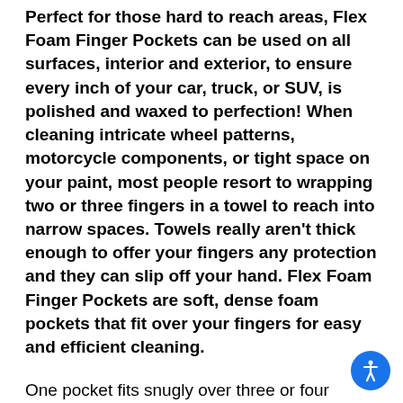Perfect for those hard to reach areas, Flex Foam Finger Pockets can be used on all surfaces, interior and exterior, to ensure every inch of your car, truck, or SUV, is polished and waxed to perfection! When cleaning intricate wheel patterns, motorcycle components, or tight space on your paint, most people resort to wrapping two or three fingers in a towel to reach into narrow spaces. Towels really aren't thick enough to offer your fingers any protection and they can slip off your hand. Flex Foam Finger Pockets are soft, dense foam pockets that fit over your fingers for easy and efficient cleaning.
One pocket fits snugly over three or four fingers, depending on how large your hand is. You get the maneuverability of using your own hand as a cleaning tool along with the polishing capability of quality foam. Plus, your fingers are cushioned against potentially sharp edges while you work. Flex Foam Finger Pockets are each double-sided so you can turn it over when it becomes soiled.